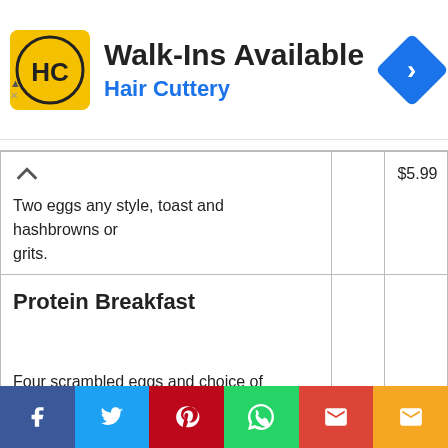[Figure (infographic): Hair Cuttery advertisement banner: HC logo on yellow background, 'Walk-Ins Available' heading, 'Hair Cuttery' in blue, blue diamond arrow icon on right, ad close controls on left]
| Item |  | Price |
| --- | --- | --- |
| Two eggs any style, toast and hashbrowns or grits. |  | $5.99 |
| Protein Breakfast

Four scrambled eggs and choice of two meats: bacon, sausage patties, sausage links, turkey sausage or Canadian bacon. |  | $9.29 |
[Figure (infographic): Social share bar with Facebook, Twitter, Pinterest, WhatsApp, Gmail, and Email icons]